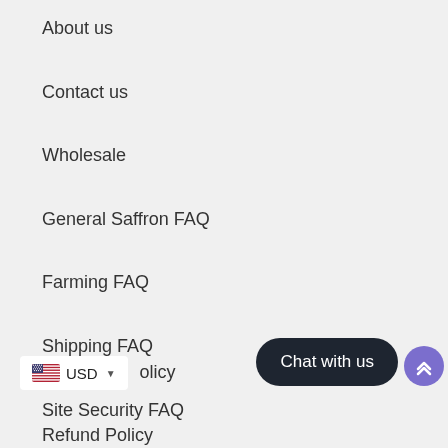About us
Contact us
Wholesale
General Saffron FAQ
Farming FAQ
Shipping FAQ
Site Security FAQ
USD olicy
Chat with us
Refund Policy